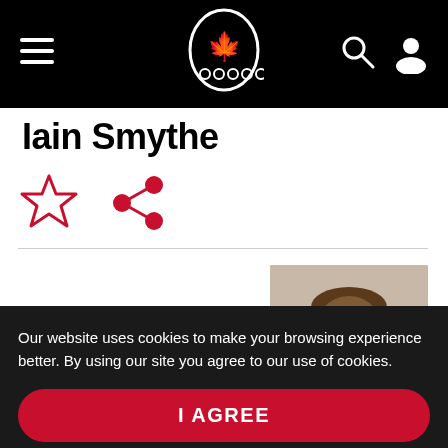[Figure (screenshot): Canadian Olympic Committee website navigation bar with hamburger menu icon on left, Canadian Olympic logo (maple leaf with Olympic rings) in center, search and user account icons on right, all on black background]
Iain Smythe
[Figure (infographic): Row of two icons: an outlined red star (favorite/bookmark icon) and a red share icon (three dots connected by lines)]
[Figure (photo): Headshot photo of a young man with dark hair and beard, smiling, on a light background]
Personal Details
Our website uses cookies to make your browsing experience better. By using our site you agree to our use of cookies.
I AGREE